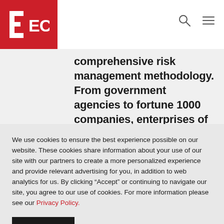[Figure (logo): ECS logo — white square bracket E shape and 'ECS' text on red background, top left corner]
comprehensive risk management methodology. From government agencies to fortune 1000 companies, enterprises of all kinds trust ECS as a reliable, secure, and
We use cookies to ensure the best experience possible on our website. These cookies share information about your use of our site with our partners to create a more personalized experience and provide relevant advertising for you, in addition to web analytics for us. By clicking “Accept” or continuing to navigate our site, you agree to our use of cookies. For more information please see our Privacy Policy.
ACCEPT